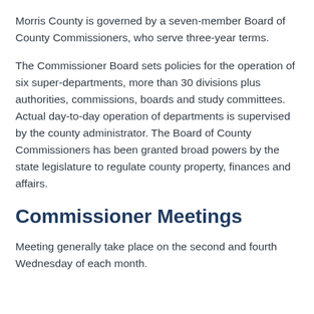Morris County is governed by a seven-member Board of County Commissioners, who serve three-year terms.
The Commissioner Board sets policies for the operation of six super-departments, more than 30 divisions plus authorities, commissions, boards and study committees. Actual day-to-day operation of departments is supervised by the county administrator. The Board of County Commissioners has been granted broad powers by the state legislature to regulate county property, finances and affairs.
Commissioner Meetings
Meeting generally take place on the second and fourth Wednesday of each month.